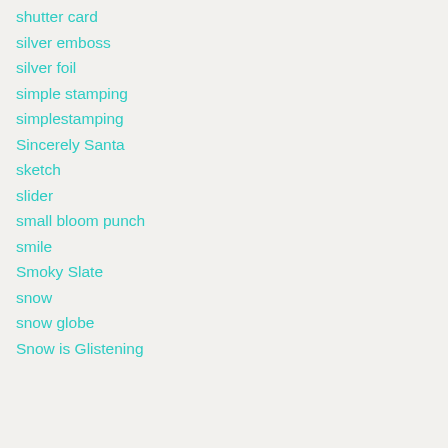shutter card
silver emboss
silver foil
simple stamping
simplestamping
Sincerely Santa
sketch
slider
small bloom punch
smile
Smoky Slate
snow
snow globe
Snow is Glistening